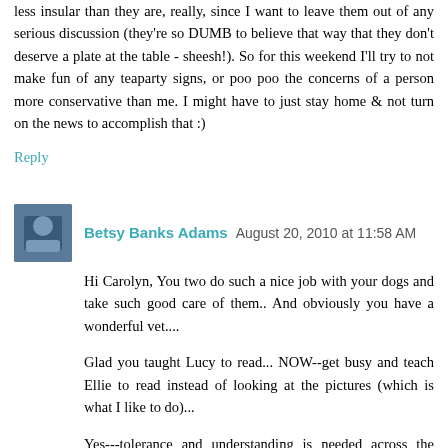less insular than they are, really, since I want to leave them out of any serious discussion (they're so DUMB to believe that way that they don't deserve a plate at the table - sheesh!). So for this weekend I'll try to not make fun of any teaparty signs, or poo poo the concerns of a person more conservative than me. I might have to just stay home & not turn on the news to accomplish that :)
Reply
Betsy Banks Adams  August 20, 2010 at 11:58 AM
Hi Carolyn, You two do such a nice job with your dogs and take such good care of them.. And obviously you have a wonderful vet....
Glad you taught Lucy to read... NOW--get busy and teach Ellie to read instead of looking at the pictures (which is what I like to do)...
Yes---tolerance and understanding is needed across the board in this country.. It's sad to see what is happening -- but we are more divided than we've even been I think. I try